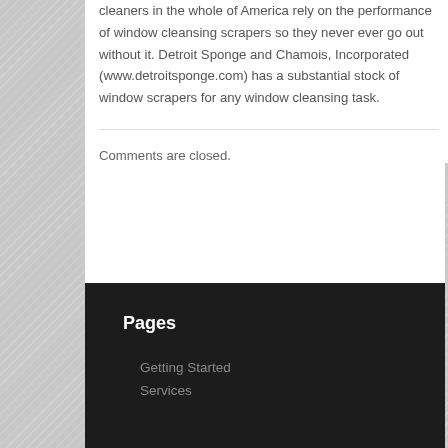cleaners in the whole of America rely on the performance of window cleansing scrapers so they never ever go out without it. Detroit Sponge and Chamois, Incorporated (www.detroitsponge.com) has a substantial stock of window scrapers for any window cleansing task.
Comments are closed.
Pages
Getting Started
Services